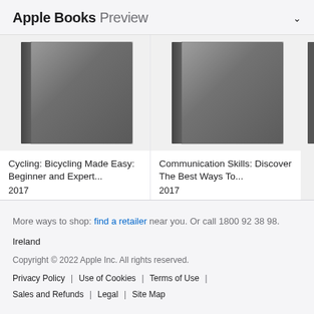Apple Books Preview
[Figure (illustration): Book cover thumbnail for 'Cycling: Bicycling Made Easy: Beginner and Expert...' — gray gradient book cover, 2017]
Cycling: Bicycling Made Easy: Beginner and Expert...
2017
[Figure (illustration): Book cover thumbnail for 'Communication Skills: Discover The Best Ways To...' — gray gradient book cover, 2017]
Communication Skills: Discover The Best Ways To...
2017
[Figure (illustration): Partially visible book cover thumbnail — gray gradient, 2017]
More ways to shop: find a retailer near you. Or call 1800 92 38 98.
Ireland
Copyright © 2022 Apple Inc. All rights reserved.
Privacy Policy | Use of Cookies | Terms of Use | Sales and Refunds | Legal | Site Map